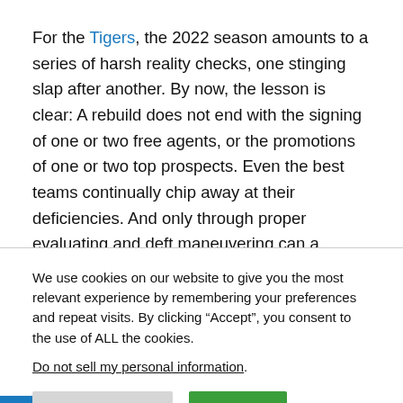For the Tigers, the 2022 season amounts to a series of harsh reality checks, one stinging slap after another. By now, the lesson is clear: A rebuild does not end with the signing of one or two free agents, or the promotions of one or two top prospects. Even the best teams continually chip away at their deficiencies. And only through proper evaluating and deft maneuvering can a middling club like the Tigers ascend to elite.
We use cookies on our website to give you the most relevant experience by remembering your preferences and repeat visits. By clicking "Accept", you consent to the use of ALL the cookies.
Do not sell my personal information.